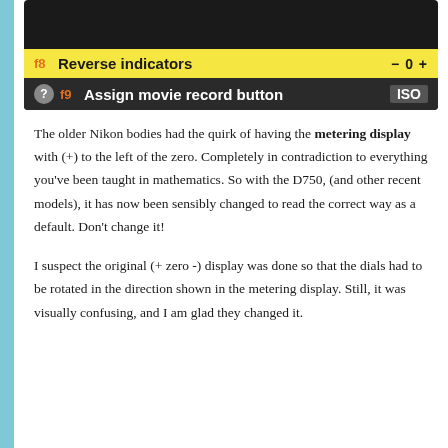[Figure (screenshot): Camera menu screen showing two items: 'f8 Reverse indicators' with value '−0+' highlighted in yellow, and 'f9 Assign movie record button' with value 'ISO' on dark background]
The older Nikon bodies had the quirk of having the metering display with (+) to the left of the zero. Completely in contradiction to everything you've been taught in mathematics. So with the D750, (and other recent models), it has now been sensibly changed to read the correct way as a default. Don't change it!
I suspect the original (+ zero -) display was done so that the dials had to be rotated in the direction shown in the metering display. Still, it was visually confusing, and I am glad they changed it.